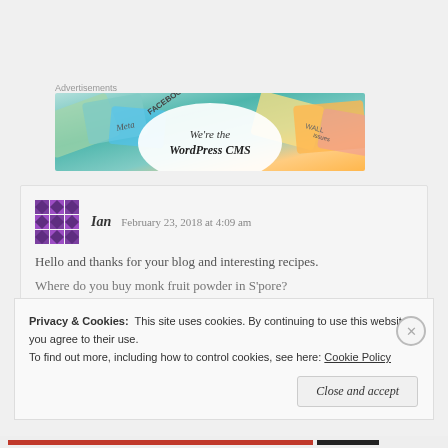Advertisements
[Figure (illustration): WordPress CMS advertisement banner with colorful overlapping cards showing Meta, Facebook, and other brand logos with text 'We're the WordPress CMS']
Ian  February 23, 2018 at 4:09 am
Hello and thanks for your blog and interesting recipes.
Where do you buy monk fruit powder in S'pore?
Privacy & Cookies: This site uses cookies. By continuing to use this website, you agree to their use.
To find out more, including how to control cookies, see here: Cookie Policy
Close and accept